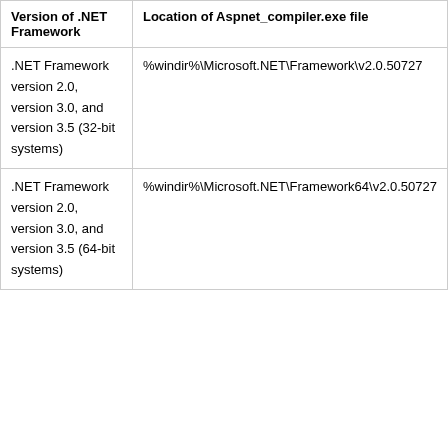| Version of .NET Framework | Location of Aspnet_compiler.exe file |
| --- | --- |
| .NET Framework version 2.0, version 3.0, and version 3.5 (32-bit systems) | %windir%\Microsoft.NET\Framework\v2.0.50727 |
| .NET Framework version 2.0, version 3.0, and version 3.5 (64-bit systems) | %windir%\Microsoft.NET\Framework64\v2.0.50727 |